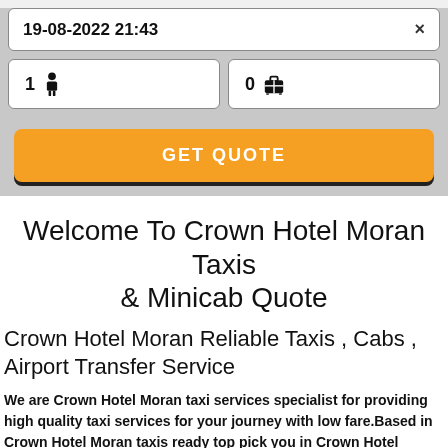19-08-2022 21:43
1 [person icon]
0 [luggage icon]
GET QUOTE
Welcome To Crown Hotel Moran Taxis & Minicab Quote
Crown Hotel Moran Reliable Taxis , Cabs , Airport Transfer Service
We are Crown Hotel Moran taxi services specialist for providing high quality taxi services for your journey with low fare.Based in Crown Hotel Moran taxis ready top pick you in Crown Hotel Moran and nearest ASAP pickup for 24/7. You can also book taxi online because we have...